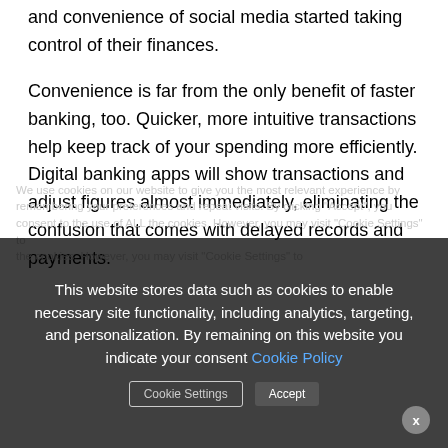and convenience of social media started taking control of their finances.
Convenience is far from the only benefit of faster banking, too. Quicker, more intuitive transactions help keep track of your spending more efficiently. Digital banking apps will show transactions and adjust figures almost immediately, eliminating the confusion that comes with delayed records and payments.
We use cookies on our website to give you the most relevant experience by remembering your preferences and repeat visits. By clicking "Accept", you consent to the use of ALL the cookies. However, you may visit "Cookie Settings" to Cookie Settings | Accept
This website stores data such as cookies to enable necessary site functionality, including analytics, targeting, and personalization. By remaining on this website you indicate your consent Cookie Policy